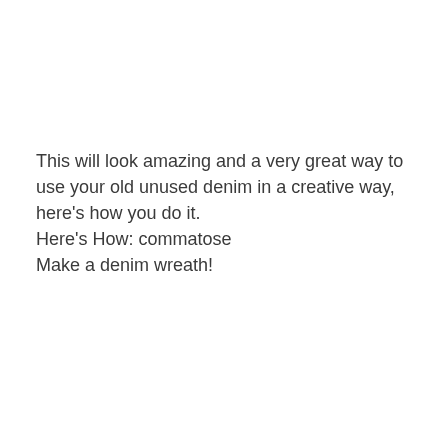This will look amazing and a very great way to use your old unused denim in a creative way, here's how you do it.
Here's How: commatose
Make a denim wreath!